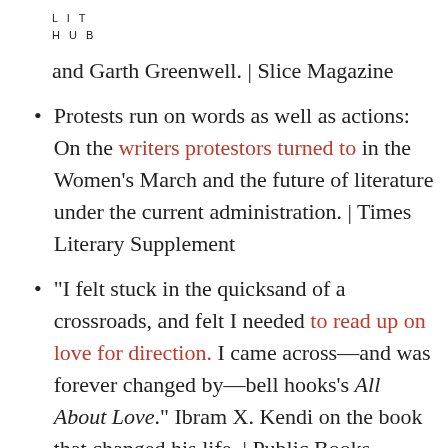L I T
H U B
and Garth Greenwell. | Slice Magazine
Protests run on words as well as actions: On the writers protestors turned to in the Women’s March and the future of literature under the current administration. | Times Literary Supplement
“I felt stuck in the quicksand of a crossroads, and felt I needed to read up on love for direction. I came across—and was forever changed by—bell hooks’s All About Love.” Ibram X. Kendi on the book that changed his life. | Public Books